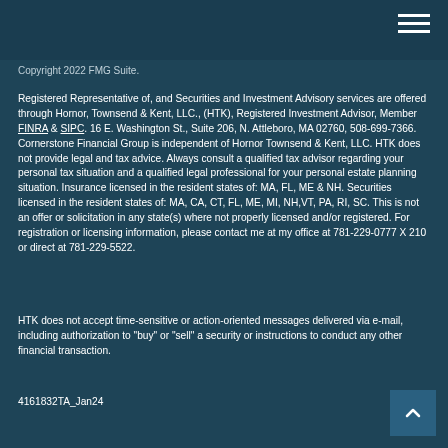Copyright 2022 FMG Suite.
Registered Representative of, and Securities and Investment Advisory services are offered through Hornor, Townsend & Kent, LLC., (HTK), Registered Investment Advisor, Member FINRA & SIPC. 16 E. Washington St., Suite 206, N. Attleboro, MA 02760, 508-699-7366. Cornerstone Financial Group is independent of Hornor Townsend & Kent, LLC. HTK does not provide legal and tax advice. Always consult a qualified tax advisor regarding your personal tax situation and a qualified legal professional for your personal estate planning situation. Insurance licensed in the resident states of: MA, FL, ME & NH. Securities licensed in the resident states of: MA, CA, CT, FL, ME, MI, NH,VT, PA, RI, SC. This is not an offer or solicitation in any state(s) where not properly licensed and/or registered. For registration or licensing information, please contact me at my office at 781-229-0777 X 210 or direct at 781-229-5522.
HTK does not accept time-sensitive or action-oriented messages delivered via e-mail, including authorization to "buy" or "sell" a security or instructions to conduct any other financial transaction.
4161832TA_Jan24